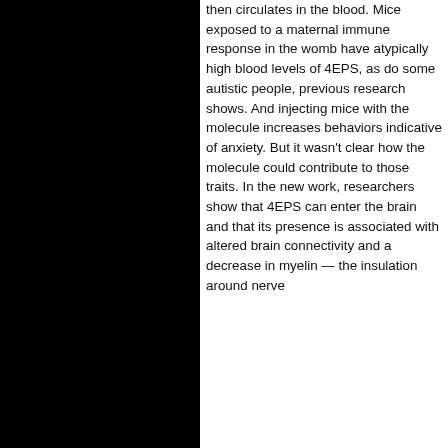[Figure (photo): Black rectangular image on the left side of the page]
then circulates in the blood. Mice exposed to a maternal immune response in the womb have atypically high blood levels of 4EPS, as do some autistic people, previous research shows. And injecting mice with the molecule increases behaviors indicative of anxiety. But it wasn't clear how the molecule could contribute to those traits. In the new work, researchers show that 4EPS can enter the brain and that its presence is associated with altered brain connectivity and a decrease in myelin — the insulation around nerve
We use cookies to enhance your experience on our website. By clicking 'Accept' or by continuing to use our website, you are agreeing to our use of cookies. You can change your cookie settings at any time.
Accept
Find out more